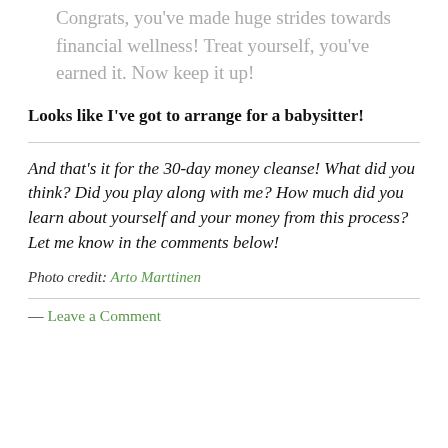Congrats, you've made huge strides towards financial wellness! Treat yourself, you've earned it. Now keep it up!
Looks like I've got to arrange for a babysitter!
And that's it for the 30-day money cleanse! What did you think? Did you play along with me? How much did you learn about yourself and your money from this process? Let me know in the comments below!
Photo credit: Arto Marttinen
— Leave a Comment